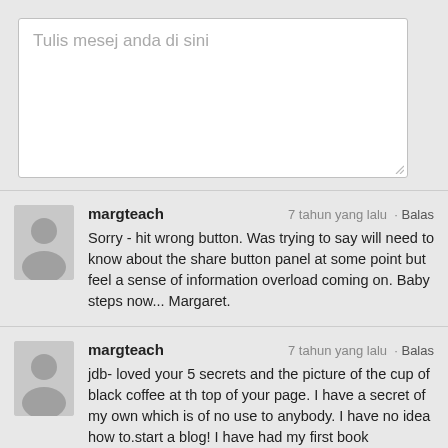[Figure (screenshot): Text input box with placeholder text 'Tulis mesej anda di sini']
margteach
7 tahun yang lalu · Balas
Sorry - hit wrong button. Was trying to say will need to know about the share button panel at some point but feel a sense of information overload coming on. Baby steps now... Margaret.
margteach
7 tahun yang lalu · Balas
jdb- loved your 5 secrets and the picture of the cup of black coffee at th top of your page. I have a secret of my own which is of no use to anybody. I have no idea how to.start a blog! I have had my first book published (can be purchased from Amazon) but I have no way to move on